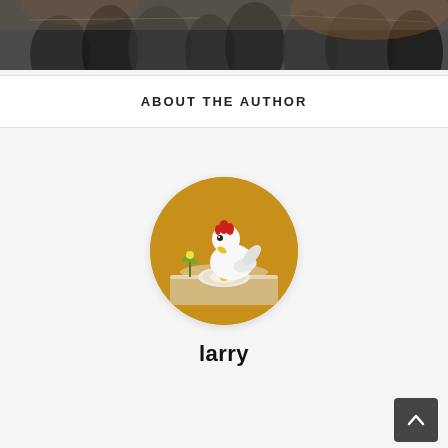[Figure (photo): Top banner photo showing a crowd of people in what appears to be an indoor venue, dark and blurry]
ABOUT THE AUTHOR
[Figure (illustration): Circular avatar illustration of a white chicken/hen eating from a plate at a table, on a golden/amber background]
larry